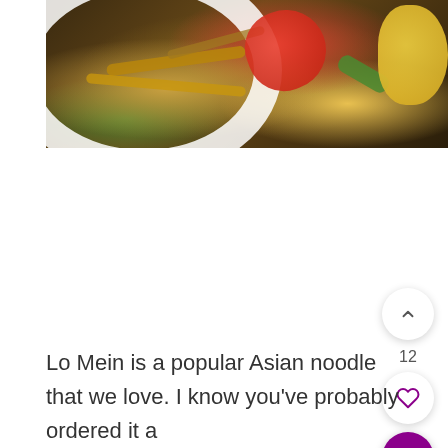[Figure (photo): Close-up photo of Lo Mein noodles dish with colorful vegetables including red and yellow peppers and green vegetables on a white plate, showing the edge of the plate at bottom left.]
Lo Mein is a popular Asian noodle that we love. I know you've probably ordered it a